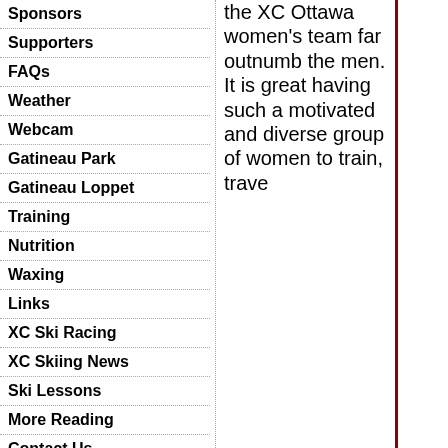Sponsors
Supporters
FAQs
Weather
Webcam
Gatineau Park
Gatineau Loppet
Training
Nutrition
Waxing
Links
XC Ski Racing
XC Skiing News
Ski Lessons
More Reading
Contact Us
Archives
Username:
the XC Ottawa women's team far outnumb the men. It is great having such a motivated and diverse group of women to train, trave